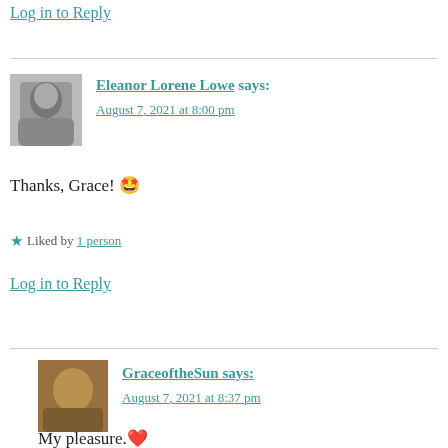Log in to Reply
Eleanor Lorene Lowe says:
August 7, 2021 at 8:00 pm
Thanks, Grace! 🤩
★ Liked by 1 person
Log in to Reply
GraceoftheSun says:
August 7, 2021 at 8:37 pm
My pleasure.❤